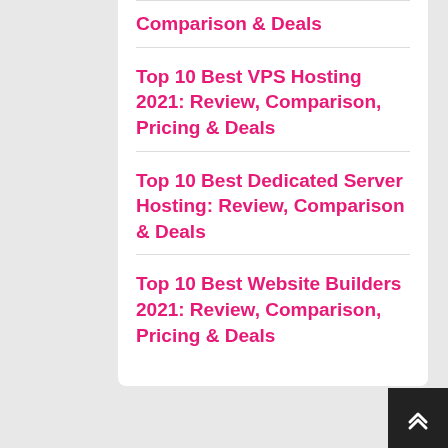Comparison & Deals
Top 10 Best VPS Hosting 2021: Review, Comparison, Pricing & Deals
Top 10 Best Dedicated Server Hosting: Review, Comparison & Deals
Top 10 Best Website Builders 2021: Review, Comparison, Pricing & Deals
Select Category:
Affiliate Marketing
Blogging
Blogspot